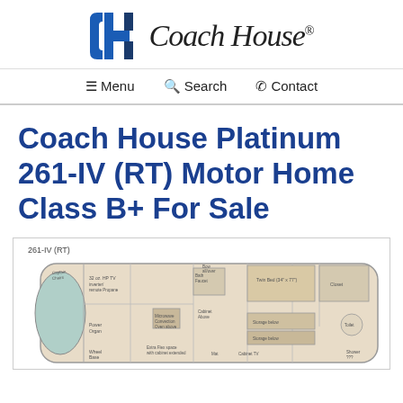[Figure (logo): Coach House RV logo with stylized CH emblem and italic script wordmark]
☰ Menu   🔍 Search   📞 Contact
Coach House Platinum 261-IV (RT) Motor Home Class B+ For Sale
[Figure (schematic): Floor plan diagram of Coach House Platinum 261-IV (RT) motor home showing interior layout with labeled areas including closet, twin bed, storage below, sink, toilet, dinette, refrigerator, microwave, and driver area]